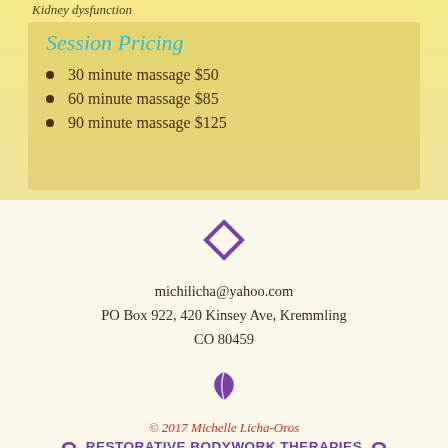Kidney dysfunction
Session Pricing
30 minute massage $50
60 minute massage $85
90 minute massage $125
[Figure (illustration): Purple diamond/rhombus decorative icon]
michilicha@yahoo.com
PO Box 922, 420 Kinsey Ave, Kremmling
CO 80459
[Figure (illustration): Purple leaf decorative icon]
© 2017 Michelle Licha-Oros
RESTORATIVE BODYWORK THERAPIES
970-509-0348